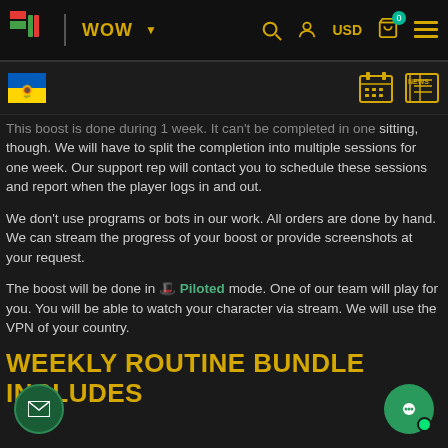IC | WOW ▼  🔍 👤 USD 🛒 ≡
[Figure (logo): Ukraine flag icon and calendar/news icons in sub-header]
This boost is done during 1 week. It can't be completed in one sitting, though. We will have to split the completion into multiple sessions for one week. Our support rep will contact you to schedule these sessions and report when the player logs in and out.
We don't use programs or bots in our work. All orders are done by hand. We can stream the progress of your boost or provide screenshots at your request.
The boost will be done in 🎩 Piloted mode. One of our team will play for you. You will be able to watch your character via stream. We will use the VPN of your country.
WEEKLY ROUTINE BUNDLE INCLUDES